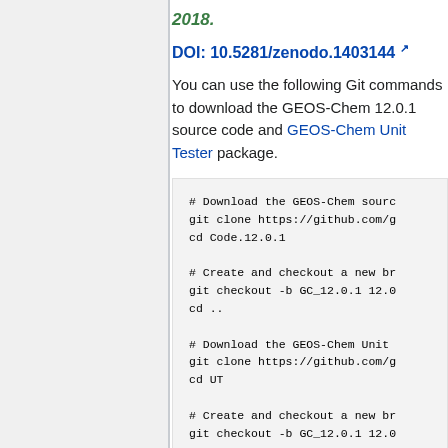2018.
DOI: 10.5281/zenodo.1403144
You can use the following Git commands to download the GEOS-Chem 12.0.1 source code and GEOS-Chem Unit Tester package.
# Download the GEOS-Chem source
git clone https://github.com/g
cd Code.12.0.1

# Create and checkout a new branch
git checkout -b GC_12.0.1 12.0
cd ..

# Download the GEOS-Chem Unit
git clone https://github.com/g
cd UT

# Create and checkout a new branch
git checkout -b GC_12.0.1 12.0